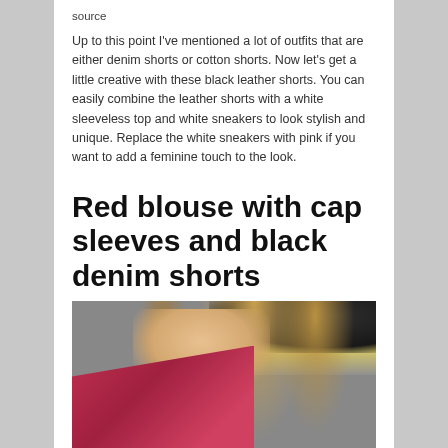source
Up to this point I've mentioned a lot of outfits that are either denim shorts or cotton shorts. Now let's get a little creative with these black leather shorts. You can easily combine the leather shorts with a white sleeveless top and white sneakers to look stylish and unique. Replace the white sneakers with pink if you want to add a feminine touch to the look.
Red blouse with cap sleeves and black denim shorts
[Figure (photo): Woman wearing a red cap-sleeve blouse with long blonde wavy hair and a dark hat, colorful background visible behind her.]